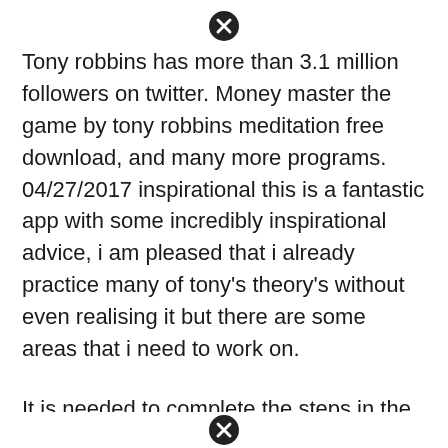[Figure (other): Close/dismiss button icon (circle with X)]
Tony robbins has more than 3.1 million followers on twitter. Money master the game by tony robbins meditation free download, and many more programs. 04/27/2017 inspirational this is a fantastic app with some incredibly inspirational advice, i am pleased that i already practice many of tony’s theory’s without even realising it but there are some areas that i need to work on.
It is needed to complete the steps in the book. Tony has more than 5.6 million fans on instagram. He frequently shares quotes and personal stories on his instagram account.
Tony robbins master the game app he makes over $000,000 from...
[Figure (other): Close/dismiss button icon (circle with X) at bottom]